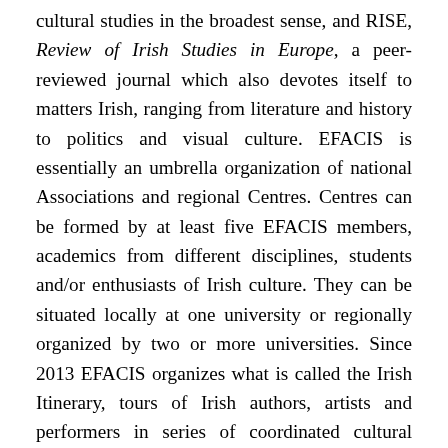cultural studies in the broadest sense, and RISE, Review of Irish Studies in Europe, a peer-reviewed journal which also devotes itself to matters Irish, ranging from literature and history to politics and visual culture. EFACIS is essentially an umbrella organization of national Associations and regional Centres. Centres can be formed by at least five EFACIS members, academics from different disciplines, students and/or enthusiasts of Irish culture. They can be situated locally at one university or regionally organized by two or more universities. Since 2013 EFACIS organizes what is called the Irish Itinerary, tours of Irish authors, artists and performers in series of coordinated cultural events at such centres. Harking back to the way in which medieval Irish missionaries brought Christianity to the continent, the Irish Itinerary thus introduces and disseminates forms of contemporary more secular Irish culture to EFACIS Centres and Europe. In order to